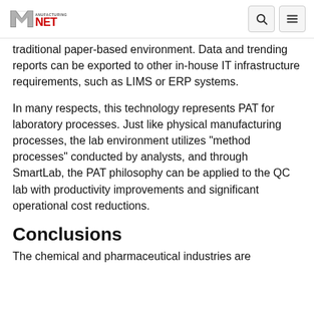Manufacturing.net
traditional paper-based environment. Data and trending reports can be exported to other in-house IT infrastructure requirements, such as LIMS or ERP systems.
In many respects, this technology represents PAT for laboratory processes. Just like physical manufacturing processes, the lab environment utilizes “method processes” conducted by analysts, and through SmartLab, the PAT philosophy can be applied to the QC lab with productivity improvements and significant operational cost reductions.
Conclusions
The chemical and pharmaceutical industries are